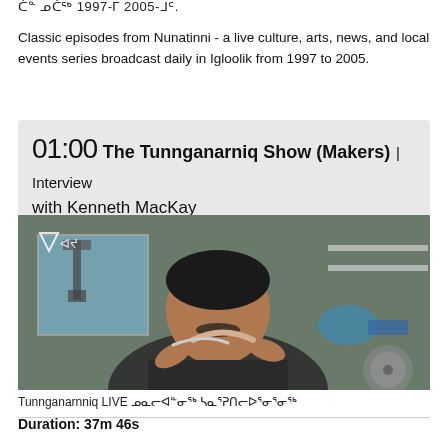ᑖᓐ ᓄᑖᖅ 1997-ᒥ 2005-ᒧᑦ.
Classic episodes from Nunatinni - a live culture, arts, news, and local events series broadcast daily in Igloolik from 1997 to 2005.
01:00 The Tunnganarniq Show (Makers) | Interview with Kenneth MacKay
[Figure (photo): Video thumbnail showing a man in a workshop holding a curved tool, with power tools visible in the background including a drill press and circular saw.]
Tunnganarnniq LIVE ᓄᓇᓕᐊᓐᓂᖅ ᓴᓇᕐᕈᑎᓕᐅᕐᓂᕐᓂᖅ
Duration: 37m 46s